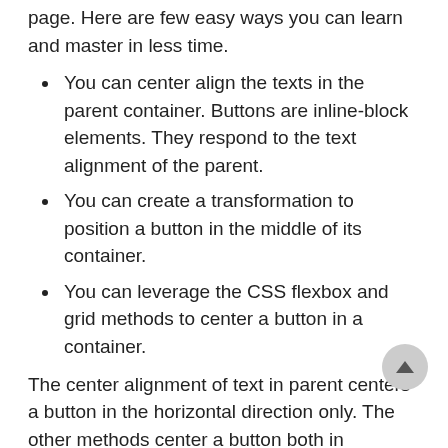page. Here are few easy ways you can learn and master in less time.
You can center align the texts in the parent container. Buttons are inline-block elements. They respond to the text alignment of the parent.
You can create a transformation to position a button in the middle of its container.
You can leverage the CSS flexbox and grid methods to center a button in a container.
The center alignment of text in parent centers a button in the horizontal direction only. The other methods center a button both in horizontal and vertical directions.